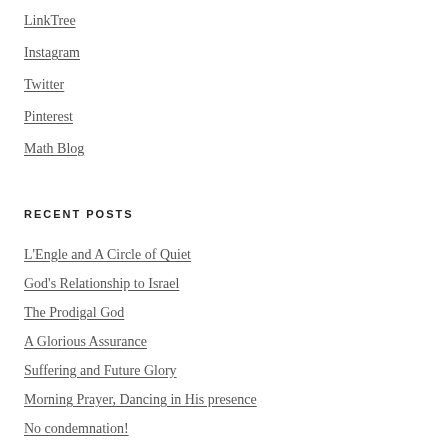LinkTree
Instagram
Twitter
Pinterest
Math Blog
RECENT POSTS
L'Engle and A Circle of Quiet
God's Relationship to Israel
The Prodigal God
A Glorious Assurance
Suffering and Future Glory
Morning Prayer, Dancing in His presence
No condemnation!
Back to School Friday Finds